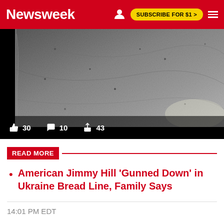Newsweek | SUBSCRIBE FOR $1 >
[Figure (photo): Close-up grayscale image of a textured metal or stone surface, with black border on the left side. Social interaction stats overlay at bottom: 30 likes, 10 comments, 43 shares.]
READ MORE
American Jimmy Hill 'Gunned Down' in Ukraine Bread Line, Family Says
14:01 PM EDT